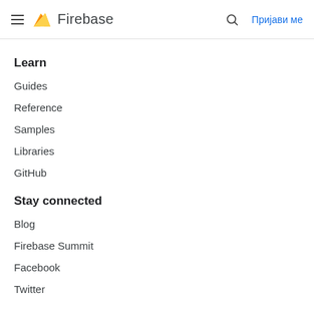Firebase — Пријави ме
Learn
Guides
Reference
Samples
Libraries
GitHub
Stay connected
Blog
Firebase Summit
Facebook
Twitter